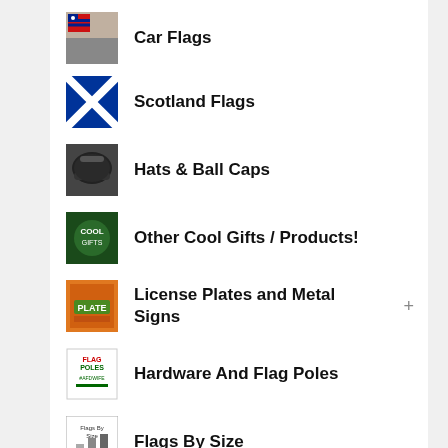Car Flags
Scotland Flags
Hats & Ball Caps
Other Cool Gifts / Products!
License Plates and Metal Signs
Hardware And Flag Poles
Flags By Size
Search Flags by Quality